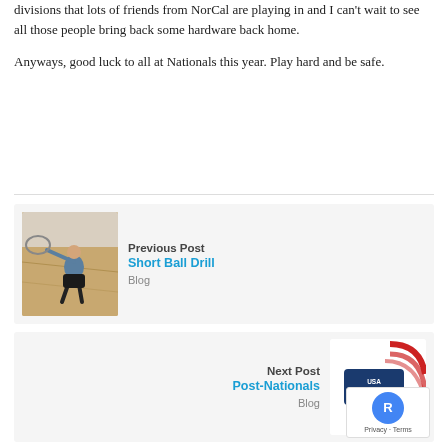divisions that lots of friends from NorCal are playing in and I can't wait to see all those people bring back some hardware back home.
Anyways, good luck to all at Nationals this year. Play hard and be safe.
[Figure (other): Previous post navigation card with image of a person playing racquetball, labeled 'Previous Post Short Ball Drill Blog']
[Figure (other): Next post navigation card with USA Racquetball National Championships logo, labeled 'Next Post Post-Nationals Blog']